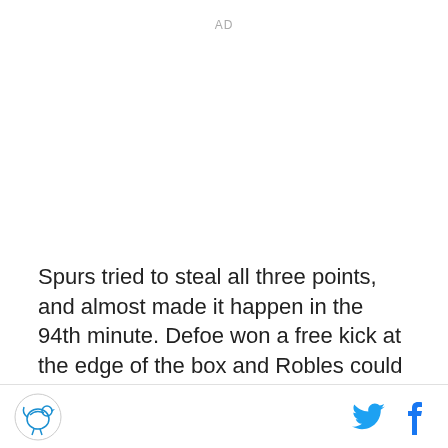AD
Spurs tried to steal all three points, and almost made it happen in the 94th minute. Defoe won a free kick at the edge of the box and Robles could only parry Bale's effort. The ball fell straight to Tom Huddlestone 8 yards out and the midfielder should have finally earned his haircut, but he blasted it straight back at the keeper. The ball is shown at the bottom with Defoe another time...
Logo | Twitter | Facebook